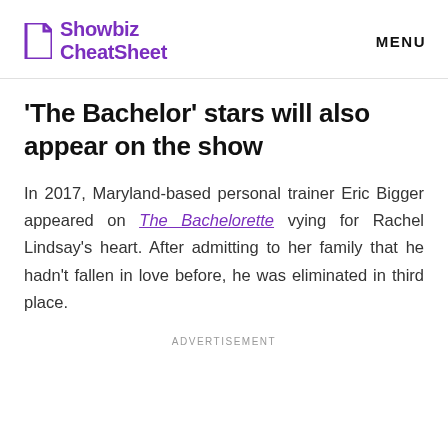Showbiz CheatSheet | MENU
'The Bachelor' stars will also appear on the show
In 2017, Maryland-based personal trainer Eric Bigger appeared on The Bachelorette vying for Rachel Lindsay's heart. After admitting to her family that he hadn't fallen in love before, he was eliminated in third place.
ADVERTISEMENT